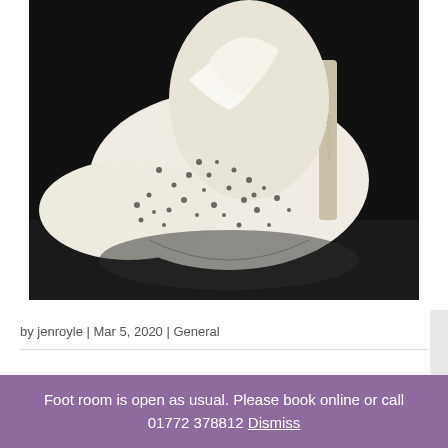[Figure (photo): Close-up photograph of a white high-heeled shoe with black dotted/spotted pattern, shot against a dark background, showing the heel and sole of the shoe.]
by jenroyle | Mar 5, 2020 | General
Foot room is open as usual. Please book online or call 01772 378812 Dismiss